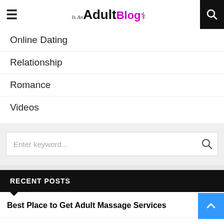Is An Adult Blog
Online Dating
Relationship
Romance
Videos
[Figure (screenshot): Search box with placeholder text 'Enter keyword...' and search icon]
RECENT POSTS
Best Place to Get Adult Massage Services
Everything you should know about veronaescortforumit.xxx and why they are famous